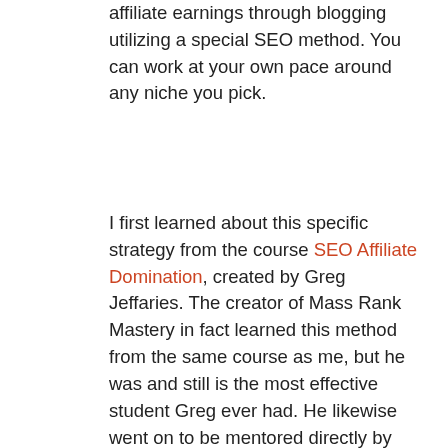affiliate earnings through blogging utilizing a special SEO method. You can work at your own pace around any niche you pick.
I first learned about this specific strategy from the course SEO Affiliate Domination, created by Greg Jeffaries. The creator of Mass Rank Mastery in fact learned this method from the same course as me, but he was and still is the most effective student Greg ever had. He likewise went on to be mentored directly by Greg as well as playing a crucial function in numerous elements of his mentor's business. Kevin Holloman had the ability to leave his full-time job in just months, working simply a few hours a day. He decided in order to balance work and family, he would work on this technique from the time he arrived home from his day job (varying between 3-5pm) until just 7pm.